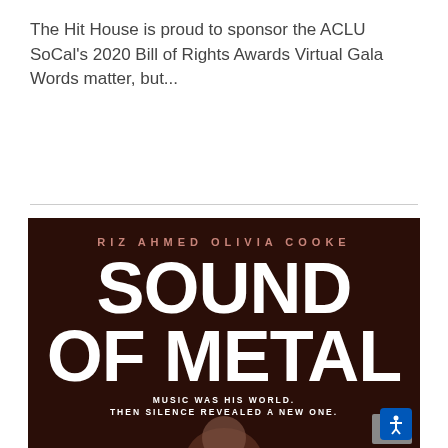The Hit House is proud to sponsor the ACLU SoCal's 2020 Bill of Rights Awards Virtual Gala Words matter, but...
[Figure (photo): Movie poster for 'Sound of Metal' starring Riz Ahmed and Olivia Cooke. Dark brown/maroon background with large white bold text reading 'SOUND OF METAL'. Below the title: 'MUSIC WAS HIS WORLD. THEN SILENCE REVEALED A NEW ONE.' A figure is partially visible at the bottom.]